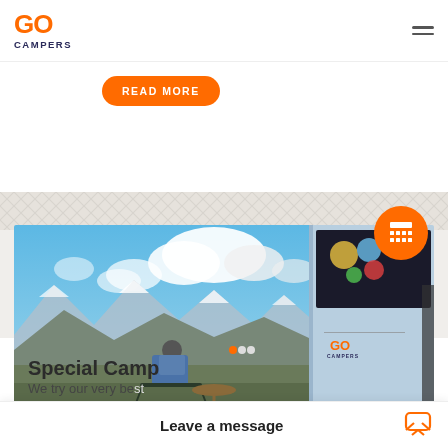GO CAMPERS
bunk down at night at an affordable price.
READ MORE
[Figure (photo): Person sitting in a blue camping chair beside a Go Campers van, with dramatic mountains, snow-capped peaks, and a cloudy blue sky in the background.]
Special Camp
We try our very be
Leave a message